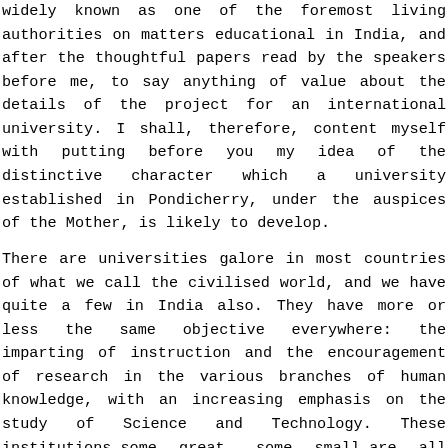widely known as one of the foremost living authorities on matters educational in India, and after the thoughtful papers read by the speakers before me, to say anything of value about the details of the project for an international university. I shall, therefore, content myself with putting before you my idea of the distinctive character which a university established in Pondicherry, under the auspices of the Mother, is likely to develop.
There are universities galore in most countries of what we call the civilised world, and we have quite a few in India also. They have more or less the same objective everywhere: the imparting of instruction and the encouragement of research in the various branches of human knowledge, with an increasing emphasis on the study of Science and Technology. These institutions—some great, some small—are all attempting, according to their own lights, to equip their alumni with